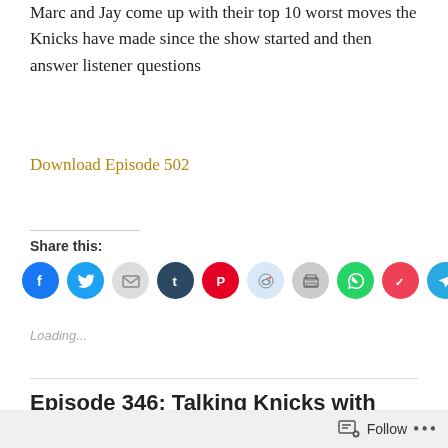Marc and Jay come up with their top 10 worst moves the Knicks have made since the show started and then answer listener questions
Download Episode 502
[Figure (infographic): Share this: row of 10 colored social media icon circles — Facebook (blue), Twitter (blue), Email (light gray), Tumblr (dark navy), Pinterest (red), Reddit (light blue), Print (light gray), WhatsApp (green), Pocket (red/pink), Telegram (blue)]
Loading...
Episode 346: Talking Knicks with